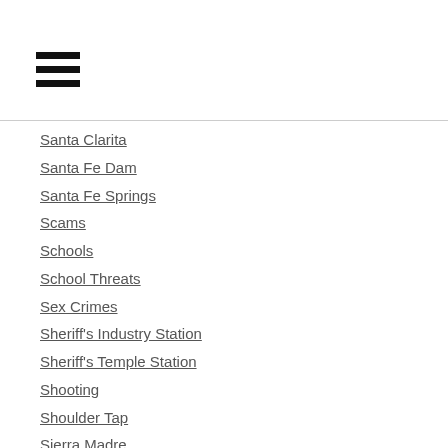Santa Clarita
Santa Fe Dam
Santa Fe Springs
Scams
Schools
School Threats
Sex Crimes
Sheriff's Industry Station
Sheriff's Temple Station
Shooting
Shoulder Tap
Sierra Madre
Sierra Madre Fire Department
Sierra Madre Police
Sig Alert
South El Monte
South Pasadena
South Pasadena Fire Department